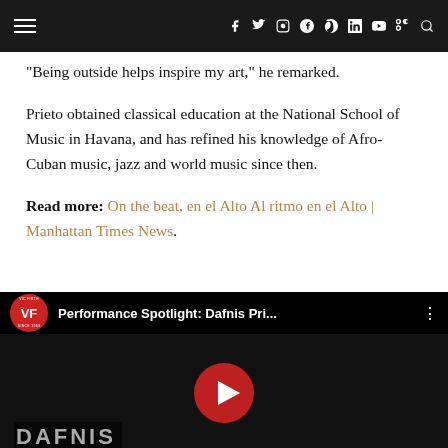Navigation bar with hamburger menu and social icons: f y instagram pinterest G+ t youtube RSS search
“Being outside helps inspire my art,” he remarked.
Prieto obtained classical education at the National School of Music in Havana, and has refined his knowledge of Afro-Cuban music, jazz and world music since then.
Read more: On the beat, en el Alto Al ritmo en el Alto | Manhattan Times News.
[Figure (screenshot): YouTube video thumbnail showing Performance Spotlight: Dafnis Pri... with Vic Firth logo, a drummer in a dark studio, and a large red play button. Text at bottom reads DAFNIS.]